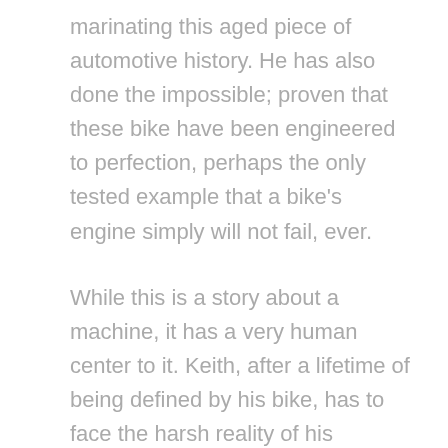marinating this aged piece of automotive history. He has also done the impossible; proven that these bike have been engineered to perfection, perhaps the only tested example that a bike's engine simply will not fail, ever.
While this is a story about a machine, it has a very human center to it. Keith, after a lifetime of being defined by his bike, has to face the harsh reality of his mortality. There is no simple way to say this, Keith is getting old. A race bike is hard to ride for someone in their physical prime, and while Keith has not ...